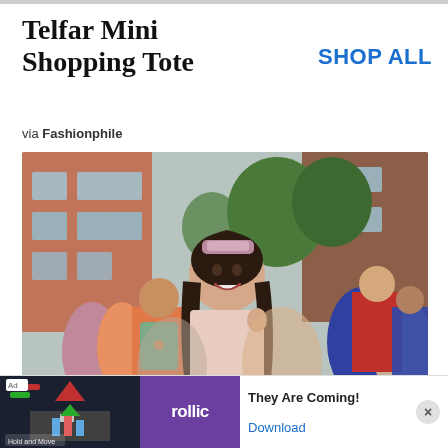Telfar Mini Shopping Tote
via Fashionphile
SHOP ALL
[Figure (photo): Street scene with a smiling young woman with long dark hair and a sparkly headband, wearing a light pink jacket, surrounded by a crowd of people on a city street with brick buildings in the background. A person with a green backpack is visible to her left.]
[Figure (infographic): Advertisement banner at the bottom. Shows an ad label, a game screenshot image on the left portion, a purple Rollic logo section, text 'They Are Coming!' and a 'Download' link, with a close (X) button on the right.]